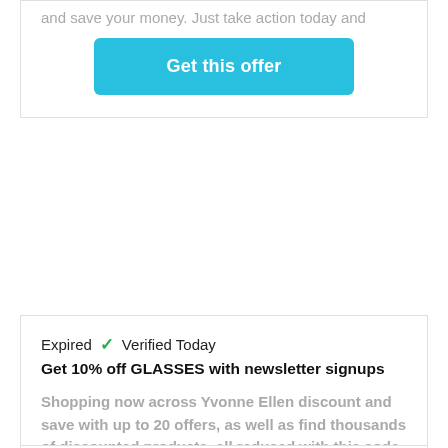and save your money. Just take action today and
Get this offer
Expired  ✓  Verified Today
Get 10% off GLASSES with newsletter signups
Shopping now across Yvonne Ellen discount and save with up to 20 offers, as well as find thousands of discounted products, all reduced with this code.
Get this offer